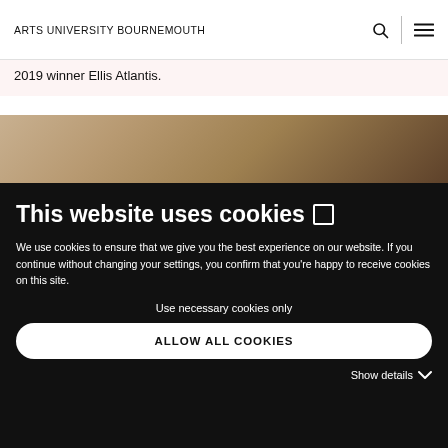ARTS UNIVERSITY BOURNEMOUTH
2019 winner Ellis Atlantis.
[Figure (photo): Partial photograph showing a warm brown/bronze gradient, likely part of an artwork or portrait image.]
This website uses cookies
We use cookies to ensure that we give you the best experience on our website. If you continue without changing your settings, you confirm that you're happy to receive cookies on this site.
Use necessary cookies only
ALLOW ALL COOKIES
Show details